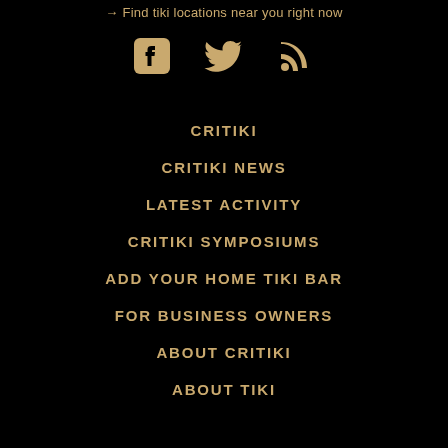→ Find tiki locations near you right now
[Figure (illustration): Three social media icons: Facebook, Twitter, and RSS feed, rendered in golden/tan color on black background]
CRITIKI
CRITIKI NEWS
LATEST ACTIVITY
CRITIKI SYMPOSIUMS
ADD YOUR HOME TIKI BAR
FOR BUSINESS OWNERS
ABOUT CRITIKI
ABOUT TIKI